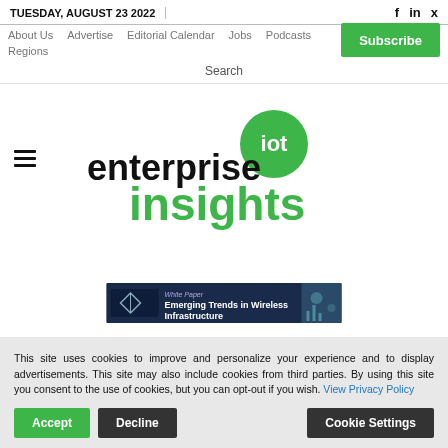TUESDAY, AUGUST 23 2022
About Us   Advertise   Editorial Calendar   Jobs   Podcasts
Regions
Subscribe
Search
[Figure (logo): Enterprise IoT Insights logo — 'enterprise' in black bold text, 'iot' in white text on a green circle, 'insights' in green bold text below]
[Figure (screenshot): Ad banner: White Paper – Emerging Trends in Wireless Infrastructure]
This site uses cookies to improve and personalize your experience and to display advertisements. This site may also include cookies from third parties. By using this site you consent to the use of cookies, but you can opt-out if you wish. View Privacy Policy
Accept   Decline   Cookie Settings